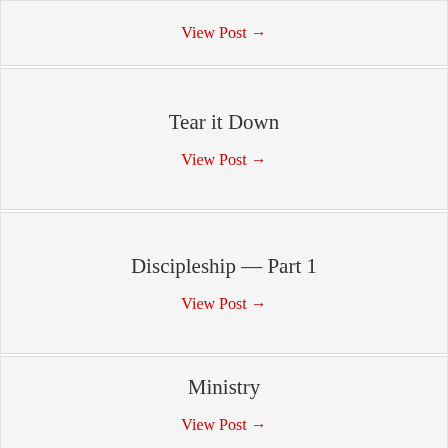View Post →
Tear it Down
View Post →
Discipleship — Part 1
View Post →
Ministry
View Post →